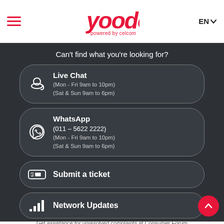[Figure (logo): Yoodo logo - red stylized text 'yoodo' with tagline 'powered by celcom']
Can't find what you're looking for?
Live Chat
(Mon - Fri 9am to 10pm)
(Sat & Sun 9am to 6pm)
WhatsApp
(011 – 5622 2222)
(Mon - Fri 9am to 10pm)
(Sat & Sun 9am to 6pm)
Submit a ticket
Network Updates
Get assistance for unresolved complaints at Consumer Forum